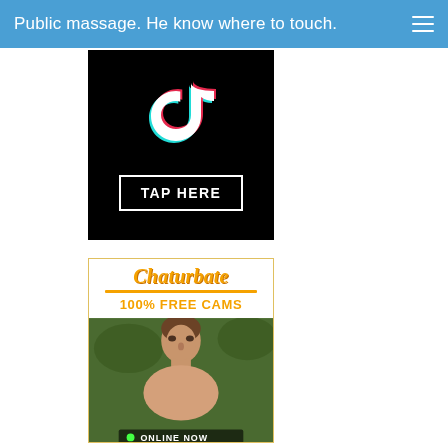Public massage. He know where to touch.
[Figure (screenshot): TikTok logo on black background with white 'TAP HERE' button in rectangle border]
[Figure (screenshot): Chaturbate advertisement banner with logo, '100% FREE CAMS' text, and photo of shirtless young man with 'ONLINE NOW' badge]